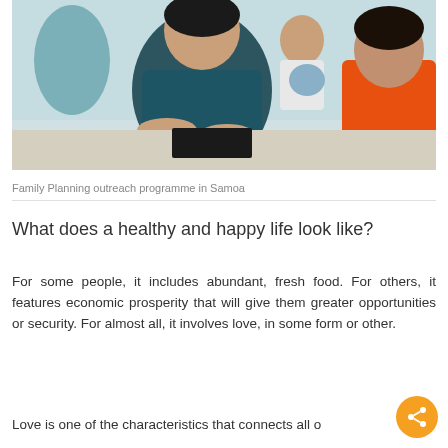[Figure (photo): People sitting at a table during a Family Planning outreach programme in Samoa. A woman in a teal/dark patterned top and a person in an orange shirt are visible, with a child in the background.]
Family Planning outreach programme in Samoa
What does a healthy and happy life look like?
For some people, it includes abundant, fresh food. For others, it features economic prosperity that will give them greater opportunities or security. For almost all, it involves love, in some form or other.
Love is one of the characteristics that connects all o…